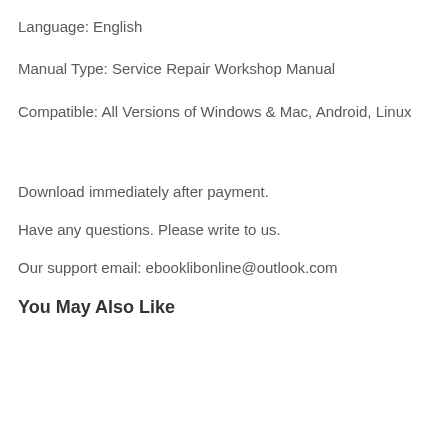Language: English
Manual Type: Service Repair Workshop Manual
Compatible: All Versions of Windows & Mac, Android, Linux
Download immediately after payment.
Have any questions. Please write to us.
Our support email: ebooklibonline@outlook.com
You May Also Like